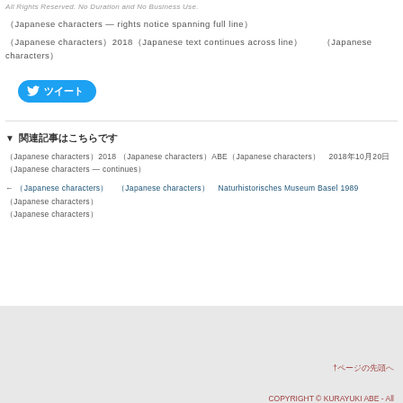All Rights Reserved. No Duration and No Business Use.
（Japanese characters - copyright/rights notice text）
（Japanese characters）2018（Japanese characters）　　（Japanese characters）
[Figure (other): Twitter share button with bird icon and Japanese text]
▼ （Japanese characters - related articles section）
（Japanese characters）2018 （Japanese characters）ABE（Japanese characters）　2018年10月20日　（Japanese characters）
← （Japanese characters）　（Japanese characters）　Naturhistorisches Museum Basel 1989 （Japanese characters）（Japanese characters）
†（Japanese characters）
COPYRIGHT © KURAYUKI ABE - All